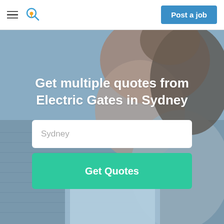[Figure (screenshot): Navigation bar with hamburger menu, location search icon, and 'Post a job' blue button on white background]
[Figure (photo): Background photo of a woman with red hair looking down at a tablet, sitting on brick pavement, with a bluish tinted overlay]
Get multiple quotes from Electric Gates in Sydney
Sydney
Get Quotes